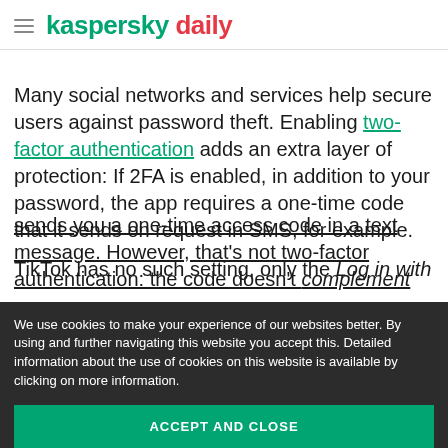kaspersky daily
Many social networks and services help secure users against password theft. Enabling two-factor authentication adds an extra layer of protection: If 2FA is enabled, in addition to your password, the app requires a one-time code that it sends on request in SMS, for example.
TikTok has no such setting, only the Log in with verification feature. This option sends you a one-time access code in a text message. However, that’s not two-factor authentication: the code doesn’t complement y
We use cookies to make your experience of our websites better. By using and further navigating this website you accept this. Detailed information about the use of cookies on this website is available by clicking on more information.
ACCEPT AND CLOSE